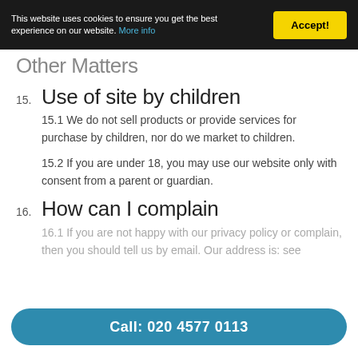This website uses cookies to ensure you get the best experience on our website. More info | Accept!
Other Matters
15. Use of site by children
15.1 We do not sell products or provide services for purchase by children, nor do we market to children.
15.2 If you are under 18, you may use our website only with consent from a parent or guardian.
16. How can I complain
16.1 If you are not happy with our privacy policy or complain, then you should tell us by email. Our address is: see
Call: 020 4577 0113